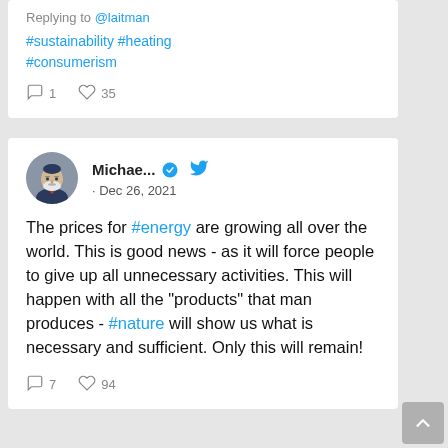Replying to @laitman
#sustainability #heating #consumerism
1  35
Michae... · Dec 26, 2021
The prices for #energy are growing all over the world. This is good news - as it will force people to give up all unnecessary activities. This will happen with all the "products" that man produces - #nature will show us what is necessary and sufficient. Only this will remain!
7  94